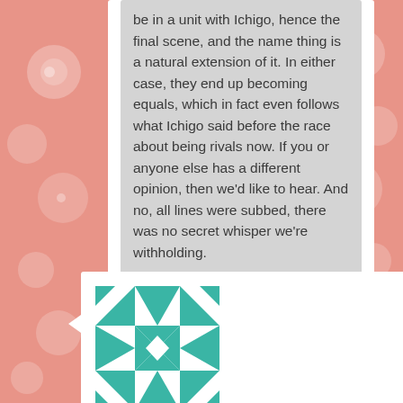be in a unit with Ichigo, hence the final scene, and the name thing is a natural extension of it. In either case, they end up becoming equals, which in fact even follows what Ichigo said before the race about being rivals now. If you or anyone else has a different opinion, then we'd like to hear. And no, all lines were subbed, there was no secret whisper we're withholding.
Reply ↓
[Figure (illustration): Avatar image with teal/green geometric quilt-like pattern on white background]
Aikatsu Yuri on April 1, 2016 at 9:33 pm said:
Akatsukin,